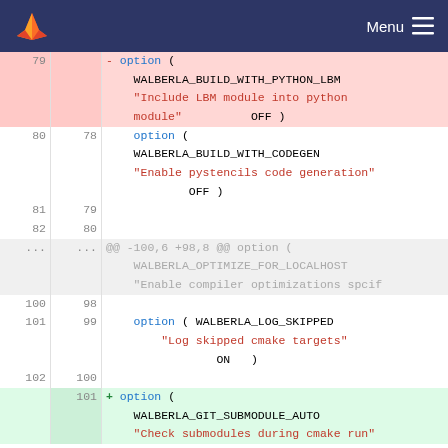Menu
[Figure (screenshot): GitLab code diff view showing CMakeLists changes. Deleted lines 79 show option WALBERLA_BUILD_WITH_PYTHON_LBM. Lines 80/78 show option WALBERLA_BUILD_WITH_CODEGEN. Lines 81/79 and 82/80 are blank. Hunk @@ -100,6 +98,8 @@ option. Lines 100/98 and 101/99 show WALBERLA_LOG_SKIPPED. Line 102/100 blank. Added line 101 shows option WALBERLA_GIT_SUBMODULE_AUTO.]